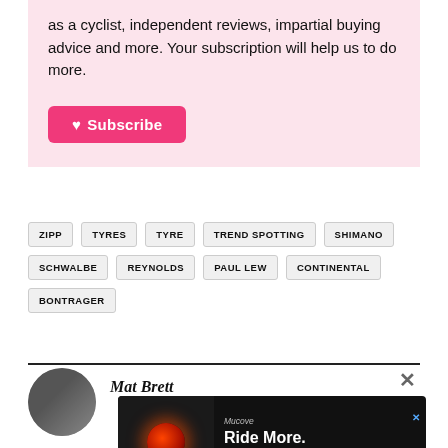as a cyclist, independent reviews, impartial buying advice and more. Your subscription will help us to do more.
♥ Subscribe
ZIPP
TYRES
TYRE
TREND SPOTTING
SHIMANO
SCHWALBE
REYNOLDS
PAUL LEW
CONTINENTAL
BONTRAGER
Mat Brett
[Figure (screenshot): Advertisement overlay showing a red light bicycle accessory with text 'Ride More. Enjoy More' on dark background]